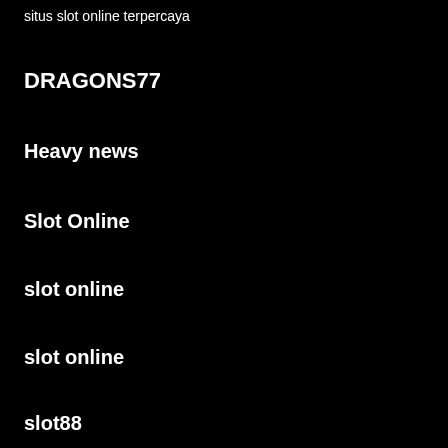situs slot online terpercaya
DRAGONS77
Heavy news
Slot Online
slot online
slot online
slot88